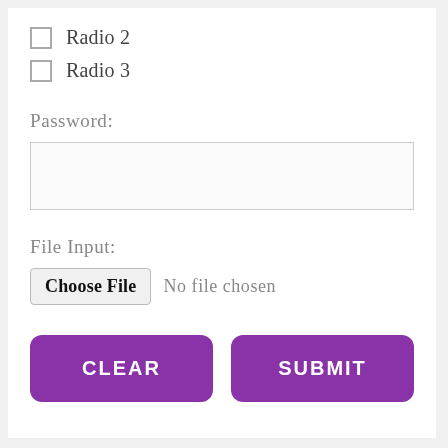Radio 2
Radio 3
Password:
[Figure (other): Empty password text input box]
File Input:
[Figure (other): File input: Choose File button with 'No file chosen' text]
CLEAR
SUBMIT